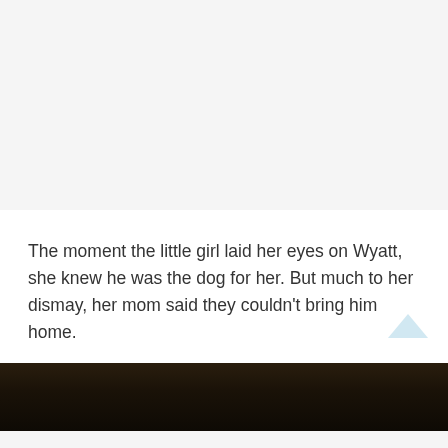[Figure (photo): Upper portion of a webpage showing a light gray background area, likely containing a photo or advertisement that has not loaded or is cropped out.]
The moment the little girl laid her eyes on Wyatt, she knew he was the dog for her. But much to her dismay, her mom said they couldn't bring him home.
[Figure (photo): Bottom strip of a dark photograph, appearing to show an animal (dog) in low-light conditions.]